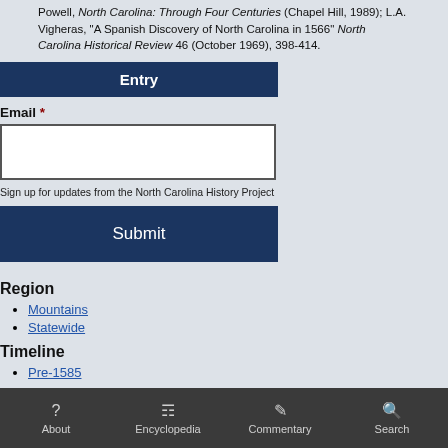Powell, North Carolina: Through Four Centuries (Chapel Hill, 1989); L.A. Vigheras, "A Spanish Discovery of North Carolina in 1566" North Carolina Historical Review 46 (October 1969), 398-414.
Entry
Email *
Sign up for updates from the North Carolina History Project
Submit
Region
Mountains
Statewide
Timeline
Pre-1585
About  Encyclopedia  Commentary  Search